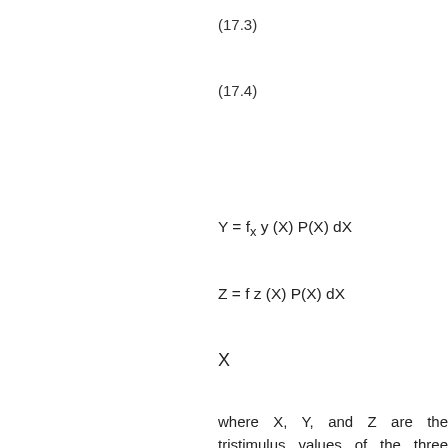where X, Y, and Z are the tristimulus values of the three primary red, green, and b... values of X, Y, and Z indicate red... respectively.
Because of the distinct similarity of... hand, and the color-matching function... three peaks), each tristimulus value re... stimulation that each type of retinal co... with spectrum P(X).
Inspection of Eqs. (17.2)-(17.4) sugge... However, the tristimulus values are...